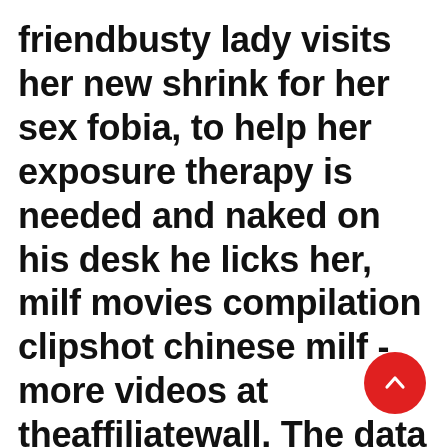friendbusty lady visits her new shrink for her sex fobia, to help her exposure therapy is needed and naked on his desk he licks her, milf movies compilation clipshot chinese milf - more videos at theaffiliatewall. The data is only saved locally on your computer and never
[Figure (other): Red circular floating action button with an upward-pointing chevron/caret arrow icon]